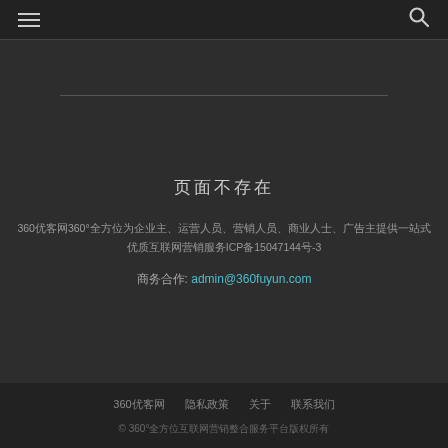≡ [hamburger menu] [search icon]
页面不存在
360优客网360°全方位为企业主、运营人员、营销人员、商业人士、广告主提供一站式优质互联网营销服务ICP备150471440-3
商务合作: admin@360fuyun.com
360优客网  隐私政策  关于  联系我们  © 360°全方位互联网营销整合服务平台版权所有